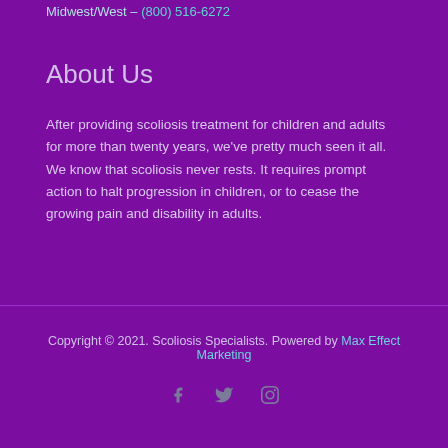Midwest/West – (800) 516-6272
About Us
After providing scoliosis treatment for children and adults for more than twenty years, we've pretty much seen it all. We know that scoliosis never rests. It requires prompt action to halt progression in children, or to cease the growing pain and disability in adults.
Copyright © 2021. Scoliosis Specialists. Powered by Max Effect Marketing